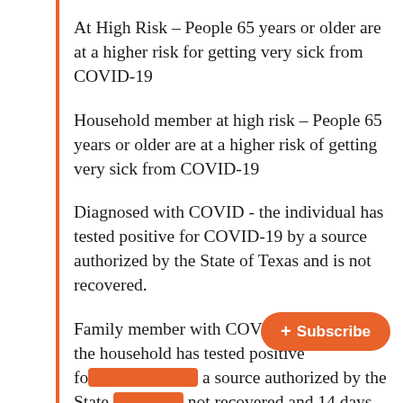At High Risk – People 65 years or older are at a higher risk for getting very sick from COVID-19
Household member at high risk – People 65 years or older are at a higher risk of getting very sick from COVID-19
Diagnosed with COVID - the individual has tested positive for COVID-19 by a source authorized by the State of Texas and is not recovered.
Family member with COVID - anybody in the household has tested positive fo[r COVID-19 by] a source authorized by the State [of Texas and is] not recovered and 14 days have not yet passed.